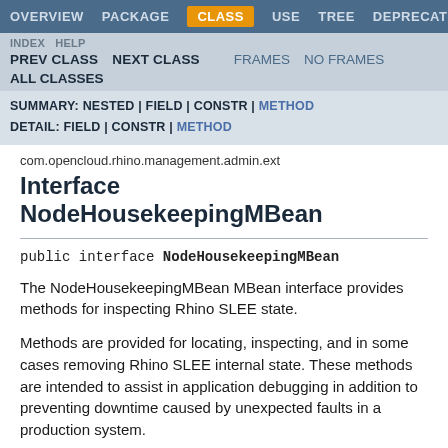OVERVIEW  PACKAGE  CLASS  USE  TREE  DEPRECATED
INDEX  HELP  PREV CLASS  NEXT CLASS  FRAMES  NO FRAMES  ALL CLASSES
SUMMARY: NESTED | FIELD | CONSTR | METHOD  DETAIL: FIELD | CONSTR | METHOD
com.opencloud.rhino.management.admin.ext
Interface NodeHousekeepingMBean
The NodeHousekeepingMBean MBean interface provides methods for inspecting Rhino SLEE state.
Methods are provided for locating, inspecting, and in some cases removing Rhino SLEE internal state. These methods are intended to assist in application debugging in addition to preventing downtime caused by unexpected faults in a production system.
Clients should obtain the ObjectName of a